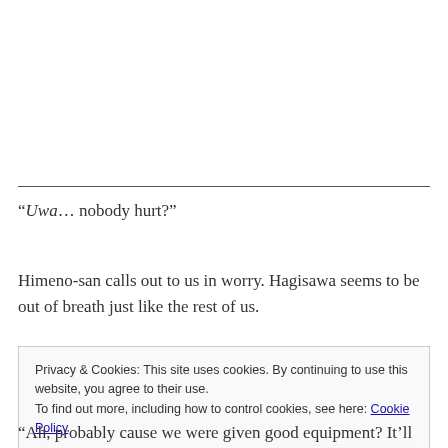“Uwa… nobody hurt?”
Himeno-san calls out to us in worry. Hagisawa seems to be out of breath just like the rest of us.
Privacy & Cookies: This site uses cookies. By continuing to use this website, you agree to their use.
To find out more, including how to control cookies, see here: Cookie Policy
Close and accept
“Ah, probably cause we were given good equipment? It’ll be